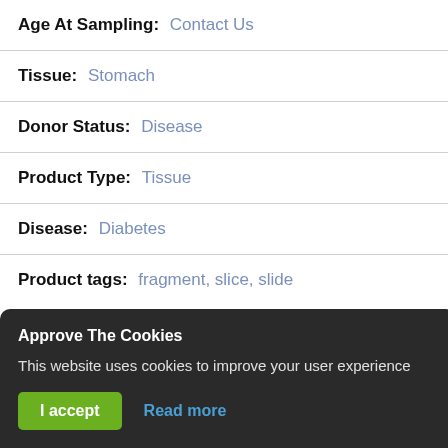Age At Sampling: Contact Us
Tissue: Stomach
Donor Status: Disease
Product Type: Tissue
Disease: Diabetes
Product tags: fragment, slice, slide
Approve The Cookies
This website uses cookies to improve your user experience
I accept  Read more